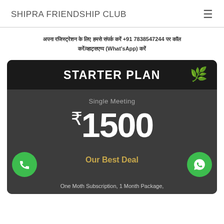SHIPRA FRIENDSHIP CLUB
अपना रजिस्ट्रेशन के लिए हमसे संपर्क करें +91 7838547244 पर कॉल करें/व्हाट्सएप्प (What'sApp) करें
[Figure (screenshot): Starter Plan pricing card showing Single Meeting for ₹1500, Our Best Deal text, phone and WhatsApp buttons, One Month Subscription 1 Month Package text at bottom]